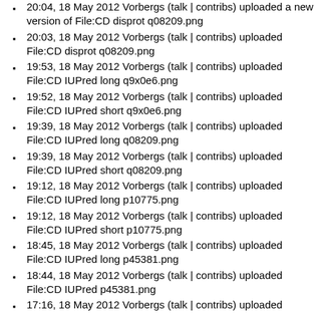20:04, 18 May 2012 Vorbergs (talk | contribs) uploaded a new version of File:CD disprot q08209.png
20:03, 18 May 2012 Vorbergs (talk | contribs) uploaded File:CD disprot q08209.png
19:53, 18 May 2012 Vorbergs (talk | contribs) uploaded File:CD IUPred long q9x0e6.png
19:52, 18 May 2012 Vorbergs (talk | contribs) uploaded File:CD IUPred short q9x0e6.png
19:39, 18 May 2012 Vorbergs (talk | contribs) uploaded File:CD IUPred long q08209.png
19:39, 18 May 2012 Vorbergs (talk | contribs) uploaded File:CD IUPred short q08209.png
19:12, 18 May 2012 Vorbergs (talk | contribs) uploaded File:CD IUPred long p10775.png
19:12, 18 May 2012 Vorbergs (talk | contribs) uploaded File:CD IUPred short p10775.png
18:45, 18 May 2012 Vorbergs (talk | contribs) uploaded File:CD IUPred long p45381.png
18:44, 18 May 2012 Vorbergs (talk | contribs) uploaded File:CD IUPred p45381.png
17:16, 18 May 2012 Vorbergs (talk | contribs) uploaded File:CD signalp p45381.png
16:53, 18 May 2012 Vorbergs (talk | contribs) uploaded File:CD signalp p47863.png
16:49, 18 May 2012 Vorbergs (talk | contribs) uploaded File:CD signalp p11378...